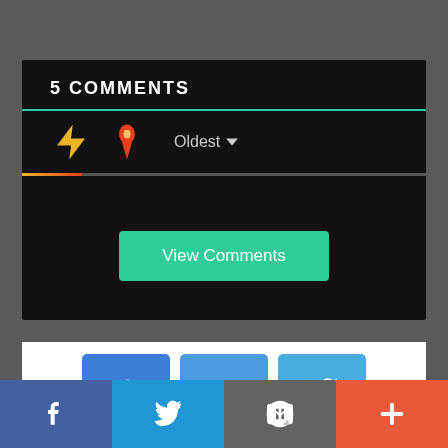5 COMMENTS
Oldest ▾
[Figure (screenshot): View Comments button - teal/green rounded rectangle button with white text]
[Figure (screenshot): Social share icons: Facebook (f), RSS feed, Twitter bird - blue square buttons]
[Figure (screenshot): Bottom navigation bar with Facebook, Twitter, email/mail, and plus (+) buttons in four colored sections]